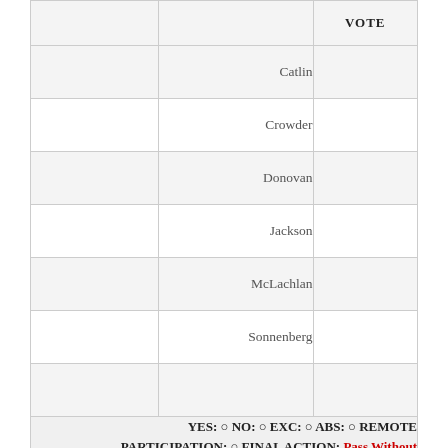|  |  | VOTE |
| --- | --- | --- |
|  | Catlin |  |
|  | Crowder |  |
|  | Donovan |  |
|  | Jackson |  |
|  | McLachlan |  |
|  | Sonnenberg |  |
|  |  |  |